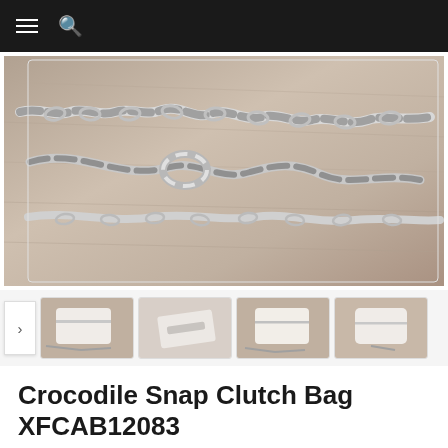Navigation bar with hamburger menu and search icon
[Figure (photo): Close-up photo of a silver chain strap for a handbag, laid on a wooden/fur surface]
[Figure (photo): Thumbnail 1: White crocodile snap clutch bag with silver chain strap on fur surface]
[Figure (photo): Thumbnail 2: Interior/detail view of the white crocodile snap clutch bag]
[Figure (photo): Thumbnail 3: Front view of white crocodile snap clutch bag with chain]
[Figure (photo): Thumbnail 4: Side/angle view of white crocodile snap clutch bag]
Crocodile Snap Clutch Bag XFCAB12083
Featured with Edge curl and a zipper pocket, with long chain strap. As the saying goes, if shoo...